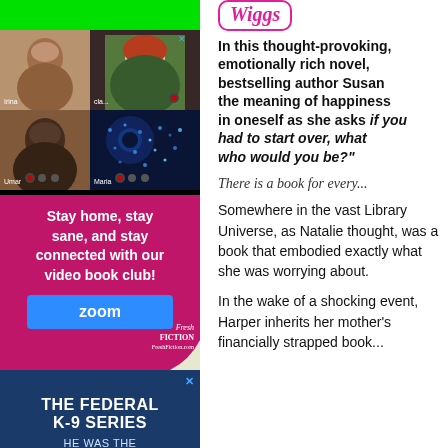[Figure (screenshot): Video call screenshot with multiple participants, green bar at top, zoom controls and world map background]
[Figure (infographic): Fresh Fiction advertisement: 'Stay home, stay sane, and stay connected with our video book club!' with Zoom logo button and page curl]
[Figure (infographic): Blue advertisement for 'The Federal K-9 Series' with text 'HE WAS THE']
Wiggs
In this thought-provoking, emotionally rich novel, bestselling author Susan explores the meaning of happiness and belief in oneself as she asks "If you had to start over, what kind of person who would you be?"
There is a book for every...
Somewhere in the vast Library Universe, as Natalie thought, was a book that embodied exactly what she was worrying about.
In the wake of a shocking event, Harper inherits her mother's financially strapped book...